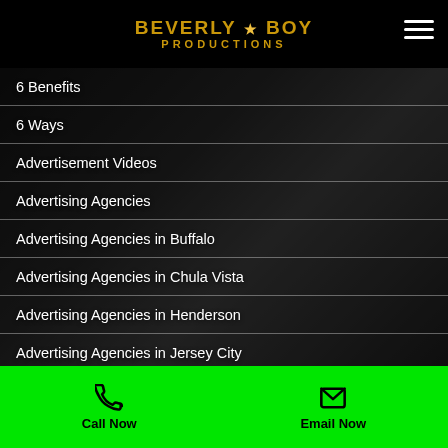Beverly Boy Productions
6 Benefits
6 Ways
Advertisement Videos
Advertising Agencies
Advertising Agencies in Buffalo
Advertising Agencies in Chula Vista
Advertising Agencies in Henderson
Advertising Agencies in Jersey City
Advertising Agencies in Newark
Advertising Agencies in Plano
Advertising Agency in Lincoln
Call Now   Email Now